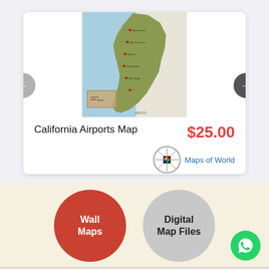[Figure (map): California Airports Map thumbnail showing the state of California with green landmass, blue water on the west side, and labeled airports. The map is cropped to show mostly the coastal outline.]
California Airports Map
$25.00
[Figure (logo): Maps of World logo with a compass rose icon and the text 'Maps of World']
[Figure (illustration): Wall Maps button - red circle with white text 'Wall Maps']
[Figure (illustration): Digital Map Files button - gray circle with dark text 'Digital Map Files']
[Figure (illustration): WhatsApp chat button - green circle with white WhatsApp icon]